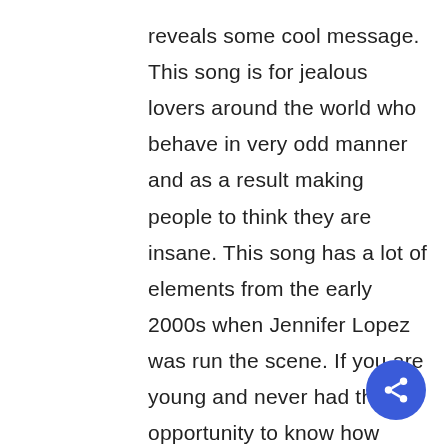reveals some cool message. This song is for jealous lovers around the world who behave in very odd manner and as a result making people to think they are insane. This song has a lot of elements from the early 2000s when Jennifer Lopez was run the scene. If you are young and never had the opportunity to know how songs or videos of early 2000s was made then this song is for you. This song has limited opportunity of making it in the entertainment scene in terms of airplay by individuals because of the use of old concept.
[Figure (other): Blue circular share button with share icon in bottom right corner]